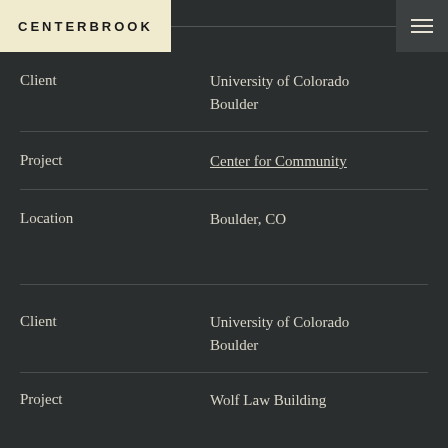CENTERBROOK
Client	University of Colorado Boulder
Project	Center for Community
Location	Boulder, CO
Client	University of Colorado Boulder
Project	Wolf Law Building